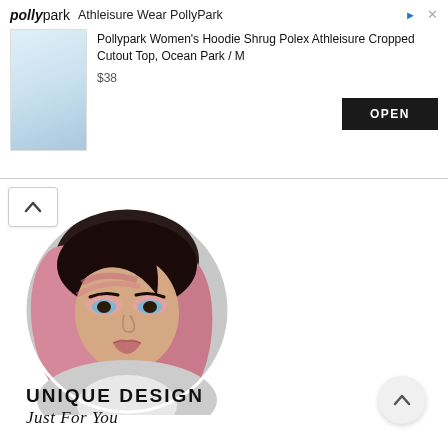[Figure (screenshot): PollyPark advertisement banner showing a woman in athleisure wear, product name 'Pollypark Women's Hoodie Shrug Polex Athleisure Cropped Cutout Top, Ocean Park / M', priced at $38, with an OPEN button]
[Figure (photo): Circular profile photo of a woman with pink ombre hair and blue eyes wearing a white/grey top]
UNIQUE DESIGN
Just For You